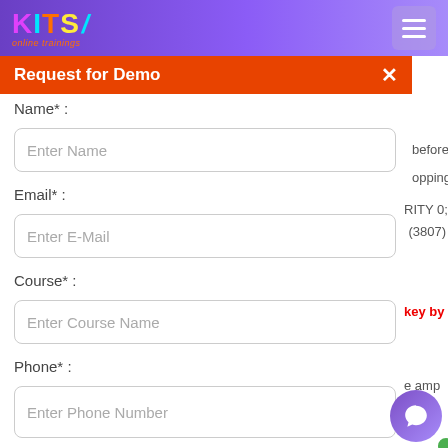KITS online trainings - Request for Demo
Request for Demo
Name* :
Enter Name
Email* :
Enter E-Mail
Course* :
Enter Course Name
Phone* :
Enter Phone Number